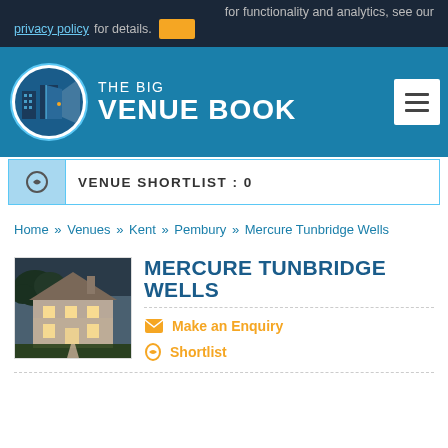for functionality and analytics, see our privacy policy for details.
VENUE SHORTLIST : 0
[Figure (logo): The Big Venue Book logo - circular icon with open door and buildings, white on blue background, with text THE BIG VENUE BOOK]
Home » Venues » Kent » Pembury » Mercure Tunbridge Wells
[Figure (photo): Exterior photo of Mercure Tunbridge Wells hotel building at dusk, large house-style building with lights on]
MERCURE TUNBRIDGE WELLS
Make an Enquiry
Shortlist